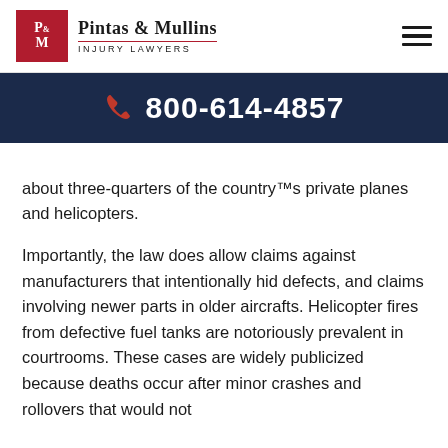Pintas & Mullins Injury Lawyers
📞 800-614-4857
about three-quarters of the country™s private planes and helicopters.
Importantly, the law does allow claims against manufacturers that intentionally hid defects, and claims involving newer parts in older aircrafts. Helicopter fires from defective fuel tanks are notoriously prevalent in courtrooms. These cases are widely publicized because deaths occur after minor crashes and rollovers that would not